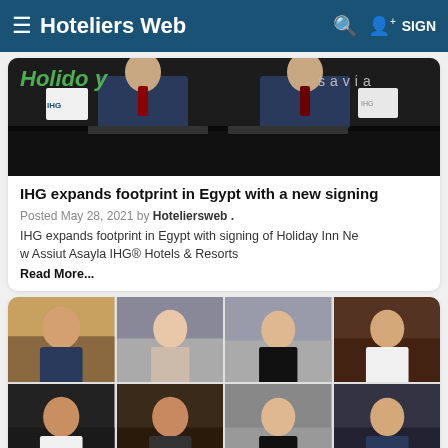Hoteliers Web
[Figure (photo): Two men in suits signing documents at a table with Holiday Inn and Savia logos visible]
IHG expands footprint in Egypt with a new signing
Posted May 28, 2021 by Hoteliersweb .
IHG expands footprint in Egypt with signing of Holiday Inn New Assiut Asayla IHG® Hotels & Resorts
Read More...
[Figure (photo): Grid of eight hotel professionals/staff members posing in hotel environments]